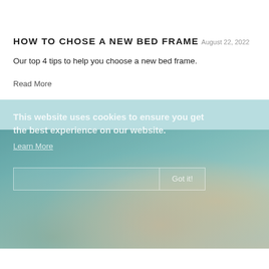HOW TO CHOSE A NEW BED FRAME
August 22, 2022
Our top 4 tips to help you choose a new bed frame.
Read More
[Figure (photo): Cookie consent banner overlaid on a photo of a person sleeping or resting, with teal/blue background section. Cookie notice reads: 'This website uses cookies to ensure you get the best experience on our website.' with a 'Learn More' link and 'Got it!' button.]